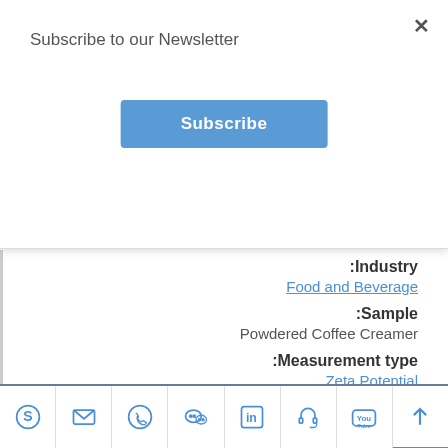Subscribe to our Newsletter
Subscribe
Industry:
Food and Beverage
Sample:
Powdered Coffee Creamer
Measurement type:
Zeta Potential
Measurement by technology:
Electrophoretic Light Scattering
Social media toolbar icons: Skype, Email, Phone, WeChat, LinkedIn, Support, YouTube, Scroll Up